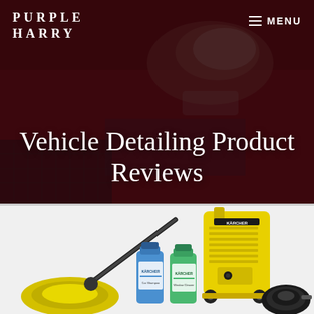PURPLE HARRY
MENU
Vehicle Detailing Product Reviews
[Figure (photo): Photo of a person in a white glove polishing/wiping a red car hood, used as hero background image]
[Figure (photo): Product photo of a Kärcher pressure washer kit with yellow unit, patio cleaner attachment, two cleaning solution bottles (blue and green), and a black hose coil on a white background]